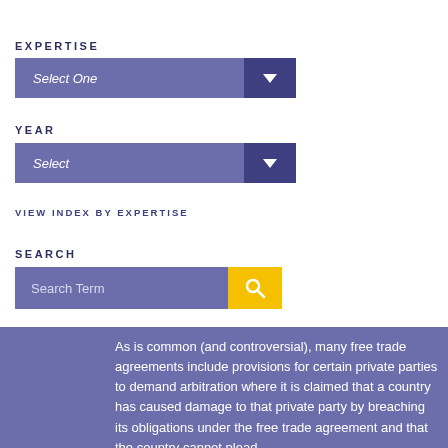EXPERTISE
[Figure (screenshot): Dropdown select input labeled 'Select One' with dark blue arrow button on a medium blue/purple background]
YEAR
[Figure (screenshot): Dropdown select input labeled 'Select' with dark blue arrow button on a medium blue/purple background]
VIEW INDEX BY EXPERTISE
SEARCH
[Figure (screenshot): Search input field labeled 'Search Term' with a yellow search button containing a magnifying glass icon]
As is common (and controversial), many free trade agreements include provisions for certain private parties to demand arbitration where it is claimed that a country has caused damage to that private party by breaching its obligations under the free trade agreement and that the country cannot plead